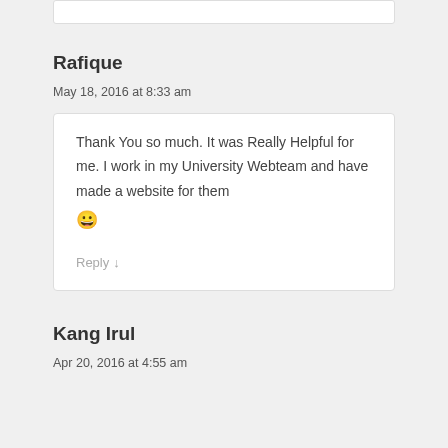Rafique
May 18, 2016 at 8:33 am
Thank You so much. It was Really Helpful for me. I work in my University Webteam and have made a website for them 😀
Reply ↓
Kang Irul
Apr 20, 2016 at 4:55 am